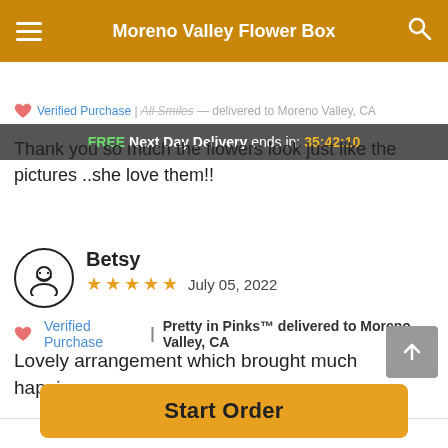Moreno Valley Flower Box
FREE Next Day Delivery ends in: 35:42:10
Verified Purchase | All Smiles — delivered to Moreno Valley, CA
Thank you so much the flowers look just like the pictures ..she love them!!
Betsy — July 05, 2022 — 5 stars
Verified Purchase | Pretty in Pinks™ delivered to Moreno Valley, CA
Lovely arrangement which brought much happiness.
Reviews Sourced from Lovingly
Start Order